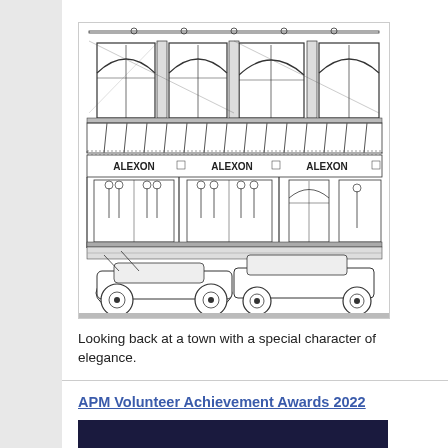[Figure (illustration): Line drawing/sketch of a two-storey building facade with 'ALEXON ALEXON ALEXON' signage, arched windows on the upper floor, striped awning, shop windows on the ground floor showing mannequins/figures, and two cars parked in front on the street.]
Looking back at a town with a special character of elegance.
APM Volunteer Achievement Awards 2022
[Figure (photo): Dark photograph partially visible at bottom of page, appears to show indoor scene with dark tones.]